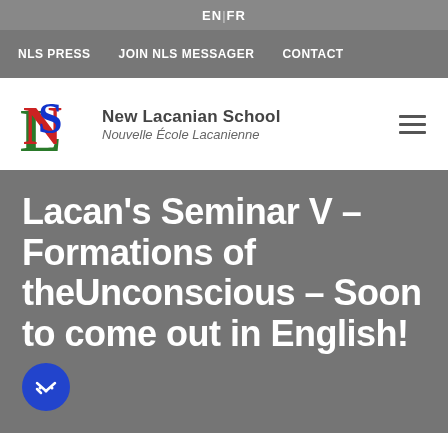EN | FR
NLS PRESS   JOIN NLS MESSAGER   CONTACT
[Figure (logo): New Lacanian School logo — colorful interlocked N, S, L letters in red, blue, and green]
New Lacanian School
Nouvelle École Lacanienne
Lacan's Seminar V – Formations of theUnconscious – Soon to come out in English!